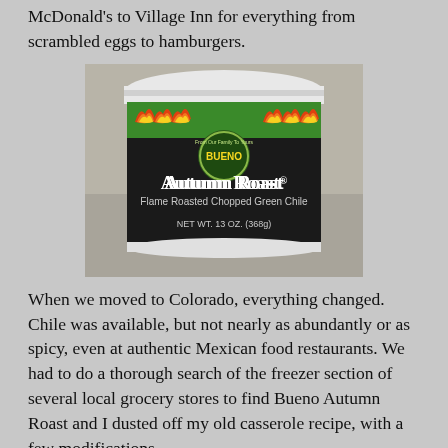McDonald's to Village Inn for everything from scrambled eggs to hamburgers.
[Figure (photo): A container of Bueno Autumn Roast Flame Roasted Chopped Green Chile, NET WT. 13 OZ. (368g), with a green and black label featuring flames and the Bueno brand logo.]
When we moved to Colorado, everything changed. Chile was available, but not nearly as abundantly or as spicy, even at authentic Mexican food restaurants. We had to do a thorough search of the freezer section of several local grocery stores to find Bueno Autumn Roast and I dusted off my old casserole recipe, with a few modifications.
Quick Green Chile Chicken Enchilada Casserole